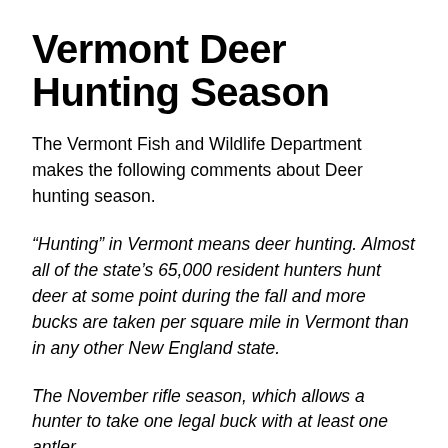Vermont Deer Hunting Season
The Vermont Fish and Wildlife Department makes the following comments about Deer hunting season.
“Hunting” in Vermont means deer hunting. Almost all of the state’s 65,000 resident hunters hunt deer at some point during the fall and more bucks are taken per square mile in Vermont than in any other New England state.
The November rifle season, which allows a hunter to take one legal buck with at least one antler